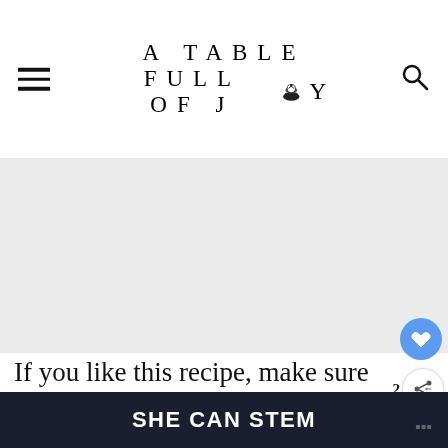A TABLE FULL OF JOY
[Figure (other): Gray advertisement placeholder area]
If you like this recipe, make sure to checkout my delicious dairy free orange chocolate truffl… use cashews for the cream!), my
SHE CAN STEM